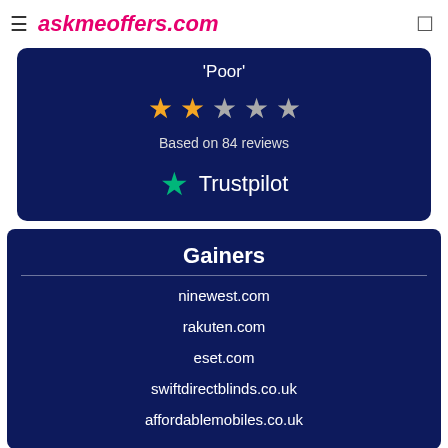askmeoffers.com
[Figure (infographic): Trustpilot rating card showing 'Poor' rating with 2 orange stars and 3 grey stars, based on 84 reviews, with Trustpilot logo]
Gainers
ninewest.com
rakuten.com
eset.com
swiftdirectblinds.co.uk
affordablemobiles.co.uk